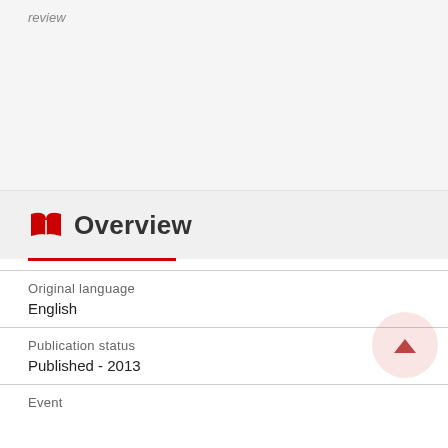review
Overview
Original language
English
Publication status
Published - 2013
Event